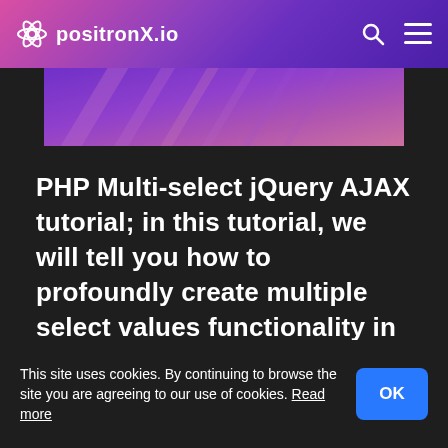positronX.io
[Figure (illustration): Hero banner image with purple/pink gradient and diagonal stripe pattern]
PHP Multi-select jQuery AJAX tutorial; in this tutorial, we will tell you how to profoundly create multiple select values functionality in PHP 8 using the jQuery Select2 plugin.
This site uses cookies. By continuing to browse the site you are agreeing to our use of cookies. Read more